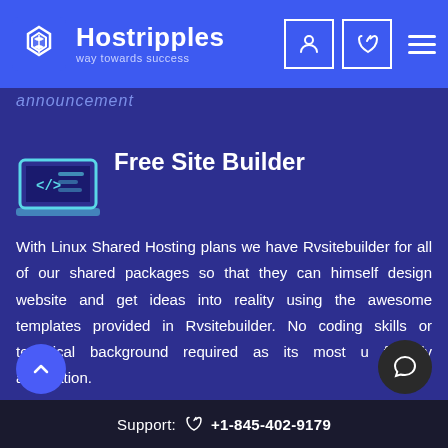Hostripples — way towards success
announcement
Free Site Builder
With Linux Shared Hosting plans we have Rvsitebuilder for all of our shared packages so that they can himself design website and get ideas into reality using the awesome templates provided in Rvsitebuilder. No coding skills or technical background required as its most user friendly application.
Support: +1-845-402-9179